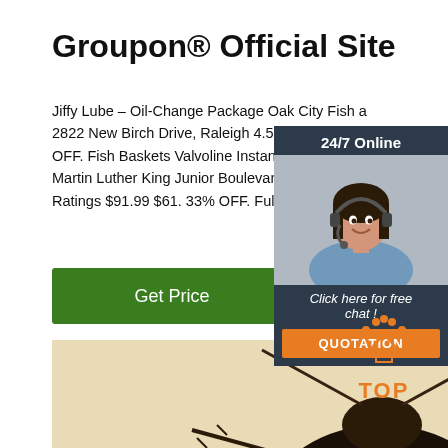Groupon® Official Site
Jiffy Lube – Oil-Change Package Oak City Fish a 2822 New Birch Drive, Raleigh 4.5 1217 Ratings OFF. Fish Baskets Valvoline Instant Oil Change Martin Luther King Junior Boulevard, New Bern 4 Ratings $91.99 $61. 33% OFF. Full-Service Oil C
[Figure (other): Green 'Get Price' button]
[Figure (photo): Close-up top-down photo of a cockroach on beige background]
[Figure (infographic): Chat widget: '24/7 Online' header, photo of woman with headset, 'Click here for free chat!' text, orange QUOTATION button]
[Figure (logo): Orange TOP logo with dots forming an arc above the letters]